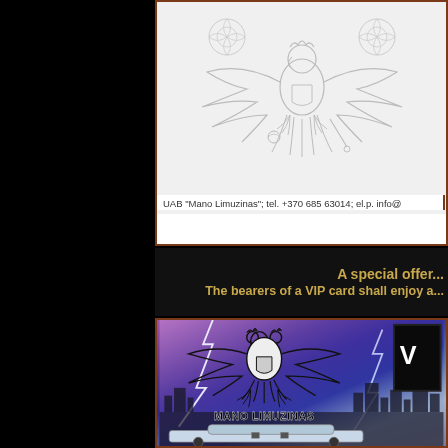[Figure (illustration): Top section showing decorative eagle/floral emblem line art (coat of arms style) with contact information below it. White/light gray background with ornate botanical and heraldic illustration.]
UAB "Mano Limuzinas"; tel. +370 685 63014; el.p. info@
A special offer...
The bearers of a VIP card shall enjoy a...
[Figure (photo): Dramatic photo-composite image showing Mano Limuzinas brand with double-headed eagle crest centered, lightning bolts in the background, city skyline, and a limousine car at the bottom. Text MANO LIMUZINAS in bold black. VIP card black panel on right side.]